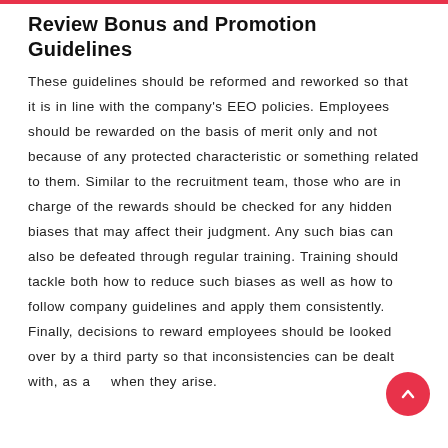Review Bonus and Promotion Guidelines
These guidelines should be reformed and reworked so that it is in line with the company's EEO policies. Employees should be rewarded on the basis of merit only and not because of any protected characteristic or something related to them. Similar to the recruitment team, those who are in charge of the rewards should be checked for any hidden biases that may affect their judgment. Any such bias can also be defeated through regular training. Training should tackle both how to reduce such biases as well as how to follow company guidelines and apply them consistently. Finally, decisions to reward employees should be looked over by a third party so that inconsistencies can be dealt with, as and when they arise.